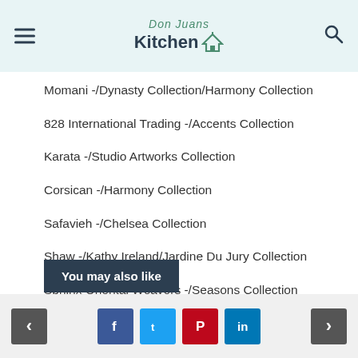Don Juans Kitchen
Momani -/Dynasty Collection/Harmony Collection
828 International Trading -/Accents Collection
Karata -/Studio Artworks Collection
Corsican -/Harmony Collection
Safavieh -/Chelsea Collection
Shaw -/Kathy Ireland/Jardine Du Jury Collection
Sphinx Oriental Weavers -/Seasons Collection
Surya -/Bombay Collection
You may also like